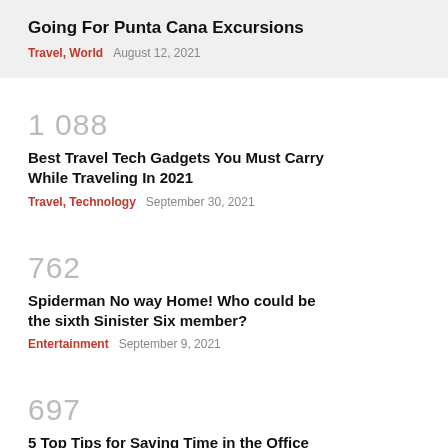Going For Punta Cana Excursions
Travel, World   August 12, 2021
1 088
Best Travel Tech Gadgets You Must Carry While Traveling In 2021
Travel, Technology   September 30, 2021
762
Spiderman No way Home! Who could be the sixth Sinister Six member?
Entertainment   September 9, 2021
697
5 Top Tips for Saving Time in the Office
Education   August 27, 2021